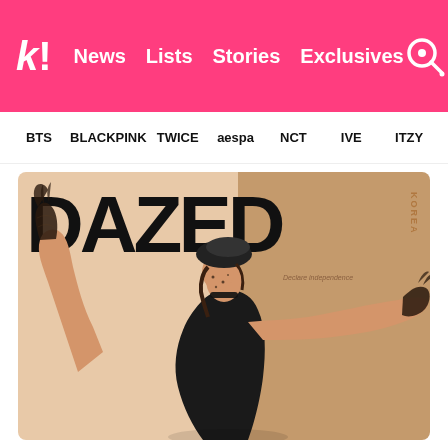k! News Lists Stories Exclusives
BTS BLACKPINK TWICE aespa NCT IVE ITZY
[Figure (photo): Dazed Korea magazine cover featuring a woman in a black outfit, black beret, and lace gloves posing with arms extended against a split beige/tan background. Large bold 'DAZED' text at top with 'KOREA' vertical text and 'Declare independence' tagline.]